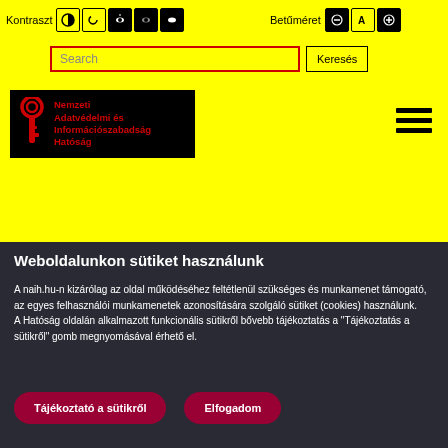[Figure (screenshot): Hungarian NAIH website header with contrast and font size controls, search bar, logo, and hamburger menu on yellow background]
Weboldalunkon sütiket használunk
A naih.hu-n kizárólag az oldal működéséhez feltétlenül szükséges és munkamenet támogató, az egyes felhasználói munkamenetek azonosítására szolgáló sütiket (cookies) használunk.
A Hatóság oldalán alkalmazott funkcionális sütikről bővebb tájékoztatás a "Tájékoztatás a sütikről" gomb megnyomásával érhető el.
Tájékoztató a sütikről
Elfogadom